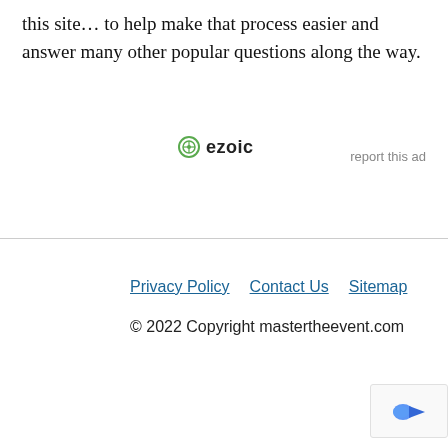this site… to help make that process easier and answer many other popular questions along the way.
[Figure (logo): Ezoic logo with green circular icon and bold 'ezoic' text, with 'report this ad' link to the right]
Privacy Policy   Contact Us   Sitemap
© 2022 Copyright mastertheevent.com